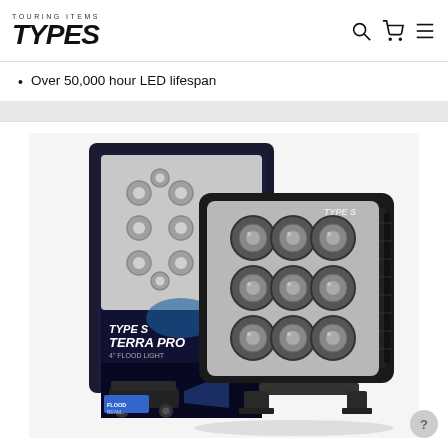TYPE S - TOURING ITEMS
Over 50,000 hour LED lifespan
[Figure (photo): TYPE S Terra Pro 4-inch flood light product shot showing the physical LED light unit with 9 LED lenses alongside its retail packaging box. The packaging features the TYPE S Terra Pro branding, an image of a Jeep, and displays FLOOD BEAM designation.]